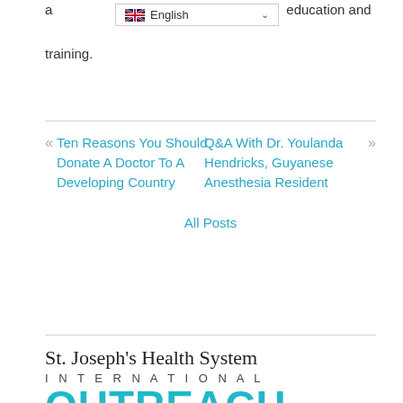a[...] education and training.
« Ten Reasons You Should Donate A Doctor To A Developing Country | All Posts | Q&A With Dr. Youlanda Hendricks, Guyanese Anesthesia Resident »
[Figure (logo): St. Joseph's Health System International OUTREACH PROGRAM logo]